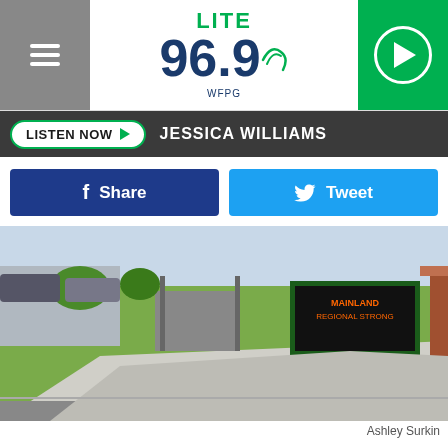[Figure (logo): LITE 96.9 WFPG radio station logo with hamburger menu and play button]
LISTEN NOW ▶  JESSICA WILLIAMS
[Figure (photo): Street view photo of a school or institutional building exterior with grass, sidewalk, and a sign reading Mainland Regional Strong]
Ashley Surkin
Details on exactly what police are investigating were not immediately known.
News of this investigation comes on a day when officials across New Jersey and the nation are on a heightened state